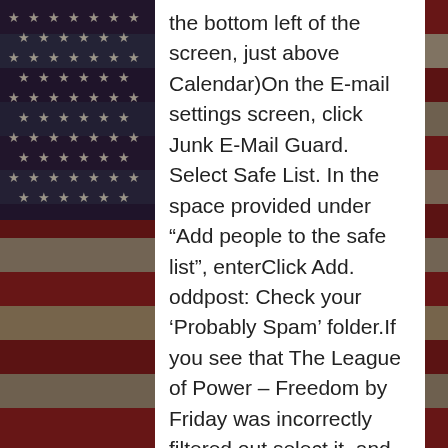[Figure (illustration): American flag background with stars and red/white/dark stripes, partially obscured, vintage distressed look. A white rectangular panel overlays the right-center portion of the image containing instructional text.]
the bottom left of the screen, just above Calendar)On the E-mail settings screen, click Junk E-Mail Guard. Select Safe List. In the space provided under “Add people to the safe list”, enterClick Add.   oddpost: Check your ‘Probably Spam’ folder.If you see that The League of Power – Freedom by Friday was incorrectly filtered out,select it, and click the ‘Move to Inbox and Mark as Not Spam’ button.   Outlook 2003: Add  to your Safe List.Add  to your Personal Contacts in your Outlook Address